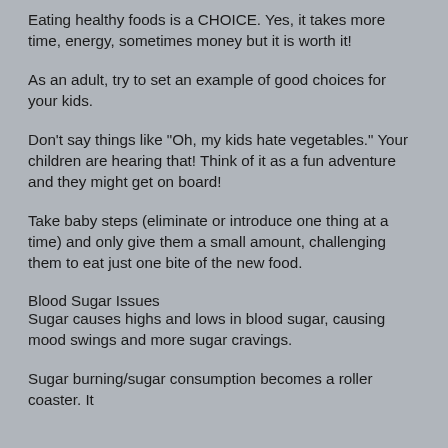Eating healthy foods is a CHOICE. Yes, it takes more time, energy, sometimes money but it is worth it!
As an adult, try to set an example of good choices for your kids.
Don't say things like "Oh, my kids hate vegetables." Your children are hearing that! Think of it as a fun adventure and they might get on board!
Take baby steps (eliminate or introduce one thing at a time) and only give them a small amount, challenging them to eat just one bite of the new food.
Blood Sugar Issues
Sugar causes highs and lows in blood sugar, causing mood swings and more sugar cravings.
Sugar burning/sugar consumption becomes a roller coaster. It